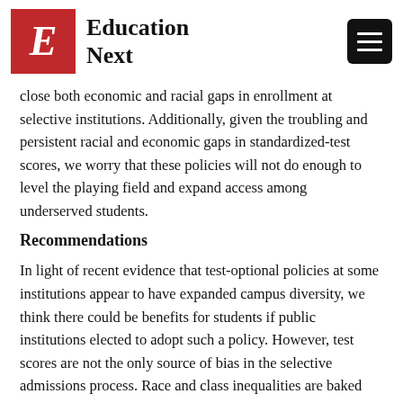Education Next
close both economic and racial gaps in enrollment at selective institutions. Additionally, given the troubling and persistent racial and economic gaps in standardized-test scores, we worry that these policies will not do enough to level the playing field and expand access among underserved students.
Recommendations
In light of recent evidence that test-optional policies at some institutions appear to have expanded campus diversity, we think there could be benefits for students if public institutions elected to adopt such a policy. However, test scores are not the only source of bias in the selective admissions process. Race and class inequalities are baked into many of the metrics that